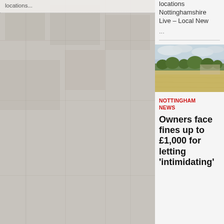locations...
[Figure (photo): Background photo of a building/scene, partially visible in the left column]
Nottinghamshire Live – Local New...
...
[Figure (photo): Outdoor park or field scene with dry yellow-brown grass, trees in background, cloudy sky]
NOTTINGHAM NEWS
Owners face fines up to £1,000 for letting 'intimidating'